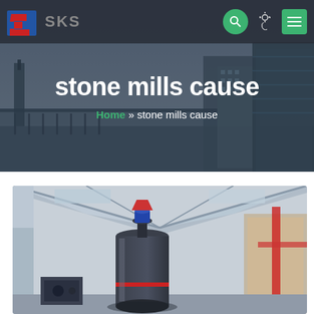[Figure (screenshot): SKS company logo with red and blue geometric S shape icon and gray SKS text]
stone mills cause
Home » stone mills cause
[Figure (photo): Industrial stone mill machine inside a large warehouse with metal roof structure, cylindrical dark machine in foreground]